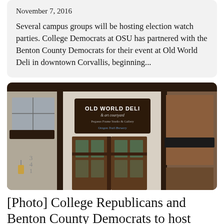November 7, 2016
Several campus groups will be hosting election watch parties. College Democrats at OSU has partnered with the Benton County Democrats for their event at Old World Deli in downtown Corvallis, beginning...
[Figure (photo): Exterior photograph of Old World Deli & art courtyard in downtown Corvallis. The storefront shows a dark wooden sign reading 'OLD WORLD DELI & art courtyard, Pegasus Frame Studio & Gallery, Oregon Trail Brewery'. The building has Tudor-style architecture with dark timber framing, glass-paned doors, and brick elements.]
[Photo] College Republicans and Benton County Democrats to host